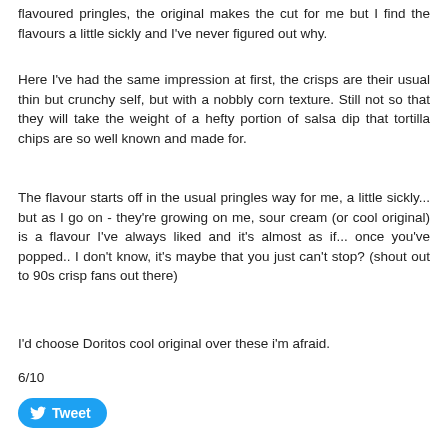flavoured pringles, the original makes the cut for me but I find the flavours a little sickly and I've never figured out why.
Here I've had the same impression at first, the crisps are their usual thin but crunchy self, but with a nobbly corn texture. Still not so that they will take the weight of a hefty portion of salsa dip that tortilla chips are so well known and made for.
The flavour starts off in the usual pringles way for me, a little sickly... but as I go on - they're growing on me, sour cream (or cool original) is a flavour I've always liked and it's almost as if... once you've popped.. I don't know, it's maybe that you just can't stop? (shout out to 90s crisp fans out there)
I'd choose Doritos cool original over these i'm afraid.
6/10
[Figure (other): Twitter Tweet button with bird logo]